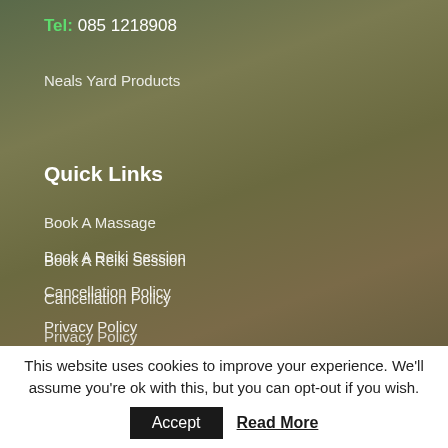Tel: 085 1218908
Neals Yard Products
Quick Links
Book A Massage
Book A Reiki Session
Cancellation Policy
Privacy Policy
Gift Vouchers
Our Blog
Sitemap
This website uses cookies to improve your experience. We'll assume you're ok with this, but you can opt-out if you wish.
Accept  Read More